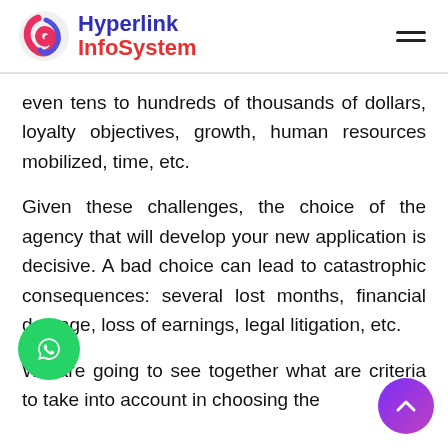Hyperlink InfoSystem
even tens to hundreds of thousands of dollars, loyalty objectives, growth, human resources mobilized, time, etc.
Given these challenges, the choice of the agency that will develop your new application is decisive. A bad choice can lead to catastrophic consequences: several lost months, financial damage, loss of earnings, legal litigation, etc.
We are going to see together what are criteria to take into account in choosing the